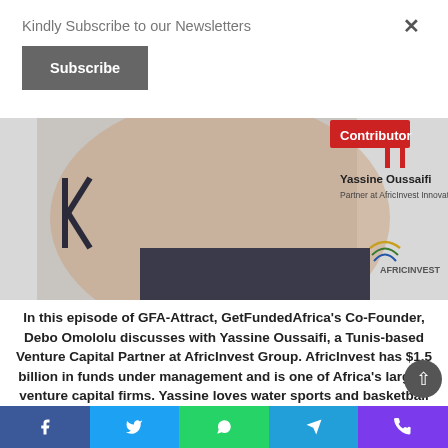Kindly Subscribe to our Newsletters
Subscribe
[Figure (photo): Contributor banner featuring Yassine Oussaifi, Partner at AfricInvest Innovation Fund, with AfricInvest logo]
In this episode of GFA-Attract, GetFundedAfrica's Co-Founder, Debo Omololu discusses with Yassine Oussaifi, a Tunis-based Venture Capital Partner at AfricInvest Group. AfricInvest has $1.5 billion in funds under management and is one of Africa's largest venture capital firms. Yassine loves water sports and basketball and tri to relax at beach locations.